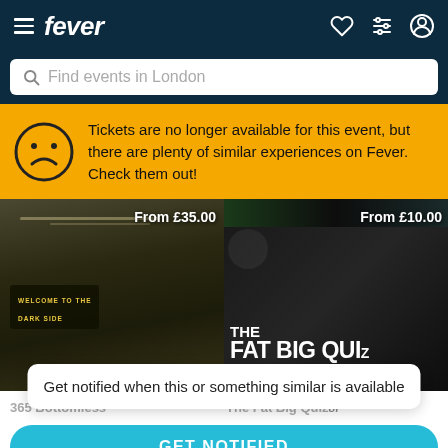fever
Find events in London
Tickets are no longer available for this event, but there are plenty of similar experiences on Fever. Check them out!
[Figure (screenshot): Event card showing dark sci-fi themed room with price 'From £35.00' and 'Welcome to the Dark Side' badge]
[Figure (screenshot): Event card showing 'THE FAT BIG QUIZ OF' text on dark background with price 'From £10.00']
Get notified when this or something similar is available
365 Bottomless
The Fat Big Quiz of
GET NOTIFIED